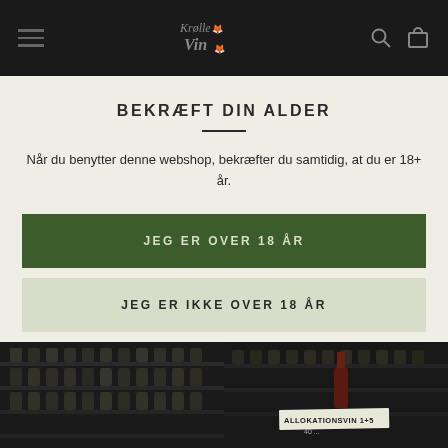Krølle Vin navigation bar with hamburger menu, logo, search and cart icons
BEKRÆFT DIN ALDER
Når du benytter denne webshop, bekræfter du samtidig, at du er 18+ år.
JEG ER OVER 18 ÅR
JEG ER IKKE OVER 18 ÅR
[Figure (photo): Two dark wine shop interior photos side by side, right one shows a sign reading ALLOKATIONSVIN 1+5]